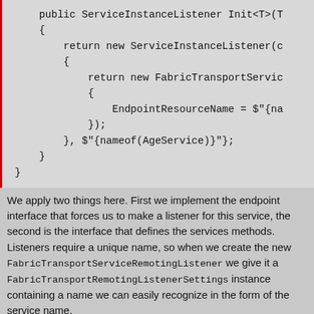[Figure (screenshot): Code block showing C# method with ServiceInstanceListener and FabricTransportService initialization including EndpointResourceName and nameof(AgeService)]
We apply two things here. First we implement the endpoint interface that forces us to make a listener for this service, the second is the interface that defines the services methods. Listeners require a unique name, so when we create the new FabricTransportServiceRemotingListener we give it a FabricTransportRemotingListenerSettings instance containing a name we can easily recognize in the form of the service name.
This service is now ready to be made accessible to other services in our Fabric Application but we have a few more